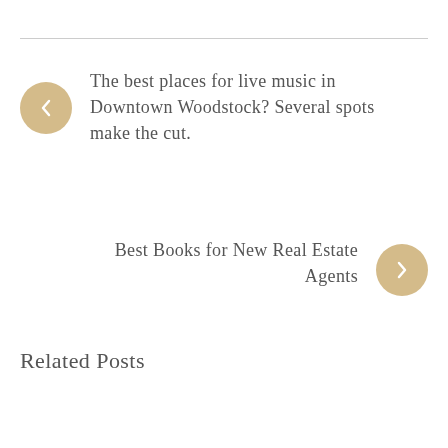The best places for live music in Downtown Woodstock? Several spots make the cut.
Best Books for New Real Estate Agents
Related Posts